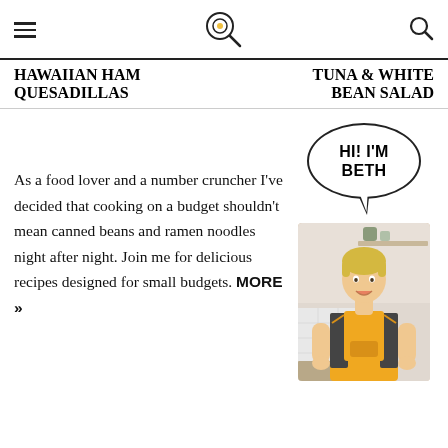Navigation header with hamburger menu, logo (frying pan icon), and search icon
HAWAIIAN HAM QUESADILLAS
TUNA & WHITE BEAN SALAD
[Figure (photo): Speech bubble saying HI! I'M BETH with a photo of Beth in a yellow apron, short blonde hair, smiling with hands on hips in a kitchen]
As a food lover and a number cruncher I've decided that cooking on a budget shouldn't mean canned beans and ramen noodles night after night. Join me for delicious recipes designed for small budgets. MORE »